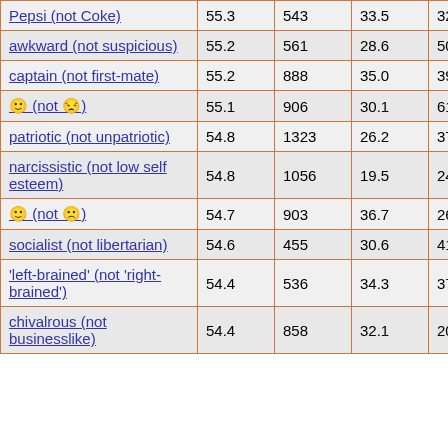| Pepsi (not Coke) | 55.3 | 543 | 33.5 | 32 |
| awkward (not suspicious) | 55.2 | 561 | 28.6 | 501 |
| captain (not first-mate) | 55.2 | 888 | 35.0 | 391 |
| 🙂 (not 😒) | 55.1 | 906 | 30.1 | 61 |
| patriotic (not unpatriotic) | 54.8 | 1323 | 26.2 | 37 |
| narcissistic (not low self esteem) | 54.8 | 1056 | 19.5 | 24 |
| 🙂 (not 🙁) | 54.7 | 903 | 36.7 | 26 |
| socialist (not libertarian) | 54.6 | 455 | 30.6 | 416 |
| 'left-brained' (not 'right-brained') | 54.4 | 536 | 34.3 | 371 |
| chivalrous (not businesslike) | 54.4 | 858 | 32.1 | 20 |